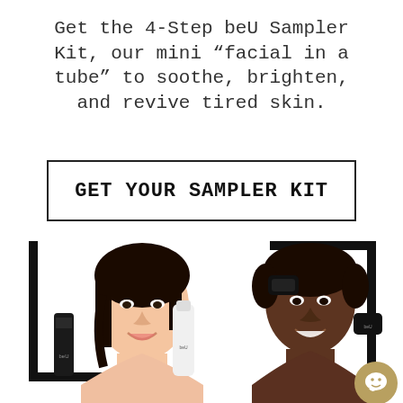Get the 4-Step beU Sampler Kit, our mini "facial in a tube" to soothe, brighten, and revive tired skin.
GET YOUR SAMPLER KIT
[Figure (photo): Two women smiling and holding skincare product tubes and jars from the beU Sampler Kit line, posed against a white background with black frame borders. Left woman is Asian with long dark hair; right woman has short natural hair and darker skin tone. Both hold multiple small black and white product containers.]